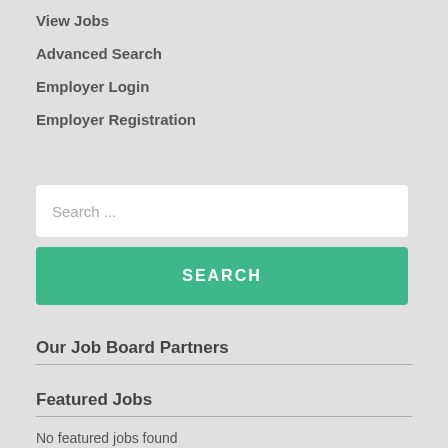View Jobs
Advanced Search
Employer Login
Employer Registration
Search ...
SEARCH
Our Job Board Partners
Featured Jobs
No featured jobs found